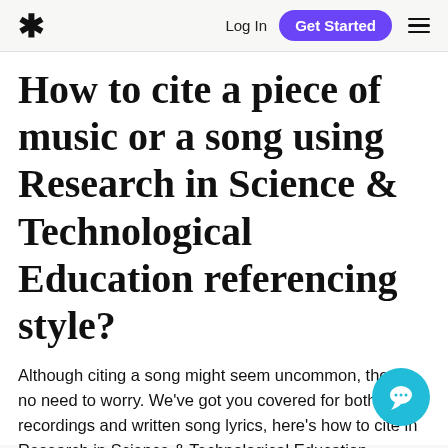* Log In  Get Started  ≡
How to cite a piece of music or a song using Research in Science & Technological Education referencing style?
Although citing a song might seem uncommon, there's no need to worry. We've got you covered for both audio recordings and written song lyrics, here's how to cite in Research in Science & Technological Education...